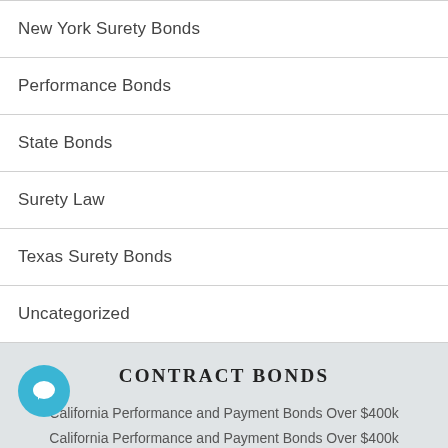New York Surety Bonds
Performance Bonds
State Bonds
Surety Law
Texas Surety Bonds
Uncategorized
CONTRACT BONDS
California Performance and Payment Bonds Over $400k
California Performance and Payment Bonds Over $400k